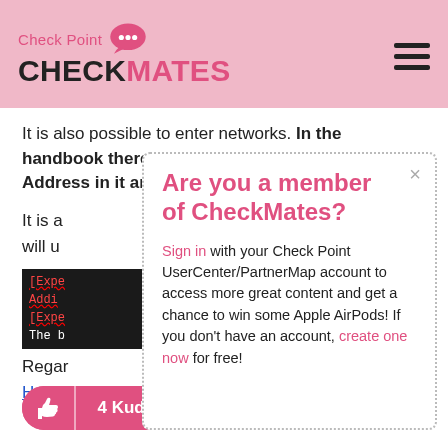Check Point CHECKMATES
It is also possible to enter networks. In the handbook there is unfortunately only the IP Address in it and not the network.
It is a [partial] will u [partial]
[Figure (screenshot): Code snippet showing [Expe, Addi, [Expe, The b lines in dark background with red underlines]
Regar [partial]
Heiko [partial, link]
[Figure (screenshot): Modal dialog: Are you a member of CheckMates? Sign in with your Check Point UserCenter/PartnerMap account to access more great content and get a chance to win some Apple AirPods! If you don't have an account, create one now for free!]
4 Kudos